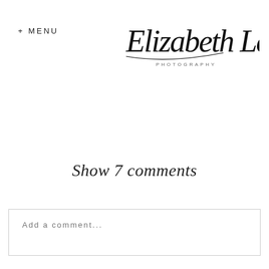+ MENU
[Figure (logo): Elizabeth Le Photography cursive script logo with 'PHOTOGRAPHY' in small caps below]
Show 7 comments
Add a comment...